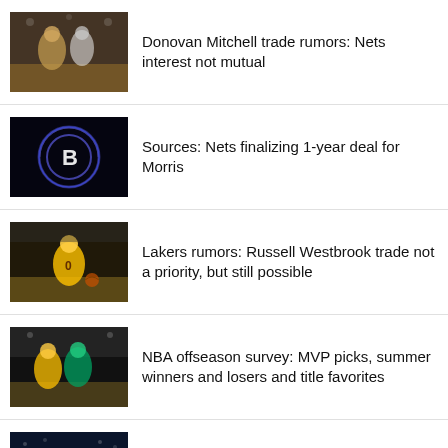Donovan Mitchell trade rumors: Nets interest not mutual
Sources: Nets finalizing 1-year deal for Morris
Lakers rumors: Russell Westbrook trade not a priority, but still possible
NBA offseason survey: MVP picks, summer winners and losers and title favorites
NBA rumors: Hornets focusing in on several guards, including former All-Stars